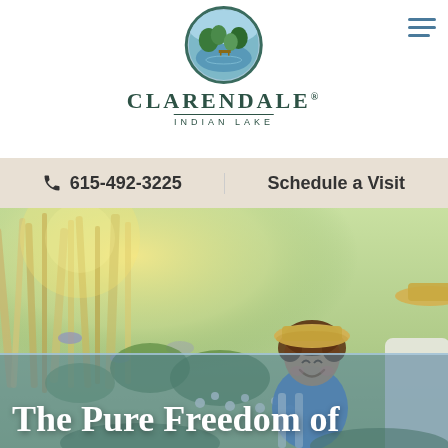[Figure (logo): Clarendale Indian Lake logo with circular nature/lake scene illustration]
CLARENDALE
INDIAN LAKE
615-492-3225
Schedule a Visit
[Figure (photo): A smiling child wearing a straw hat outdoors in a garden setting with an adult beside them]
The Pure Freedom of